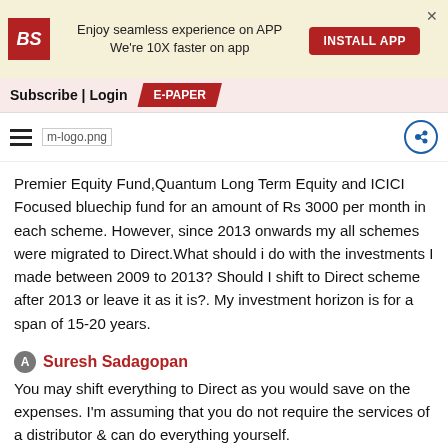Enjoy seamless experience on APP We're 10X faster on app INSTALL APP
Subscribe | Login E-PAPER
[Figure (logo): Hamburger menu icon and m-logo.png placeholder with share icon]
Premier Equity Fund,Quantum Long Term Equity and ICICI Focused bluechip fund for an amount of Rs 3000 per month in each scheme. However, since 2013 onwards my all schemes were migrated to Direct.What should i do with the investments I made between 2009 to 2013? Should I shift to Direct scheme after 2013 or leave it as it is?. My investment horizon is for a span of 15-20 years.
Suresh Sadagopan
You may shift everything to Direct as you would save on the expenses. I'm assuming that you do not require the services of a distributor & can do everything yourself.
Jiya